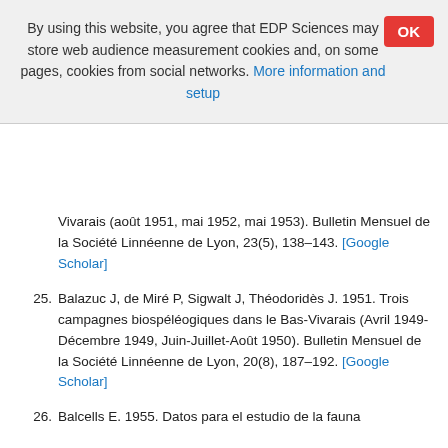By using this website, you agree that EDP Sciences may store web audience measurement cookies and, on some pages, cookies from social networks. More information and setup
Vivarais (août 1951, mai 1952, mai 1953). Bulletin Mensuel de la Société Linnéenne de Lyon, 23(5), 138–143. [Google Scholar]
25. Balazuc J, de Miré P, Sigwalt J, Théodoridès J. 1951. Trois campagnes biospéléogiques dans le Bas-Vivarais (Avril 1949-Décembre 1949, Juin-Juillet-Août 1950). Bulletin Mensuel de la Société Linnéenne de Lyon, 20(8), 187–192. [Google Scholar]
26. Balcells E. 1955. Datos para el estudio de la fauna